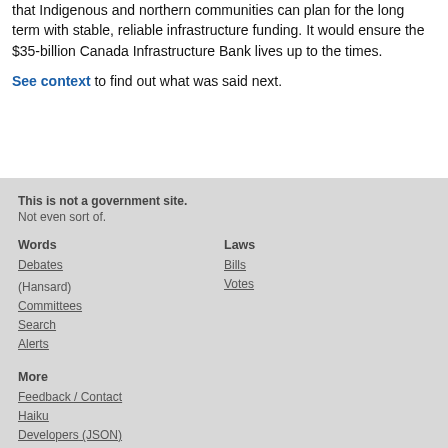that Indigenous and northern communities can plan for the long term with stable, reliable infrastructure funding. It would ensure the $35-billion Canada Infrastructure Bank lives up to the times.
See context to find out what was said next.
This is not a government site. Not even sort of. Words: Debates (Hansard), Committees, Search, Alerts. Laws: Bills, Votes. More: Feedback / Contact, Haiku, Developers (JSON)